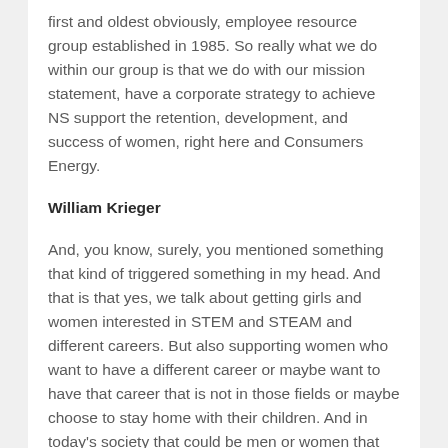first and oldest obviously, employee resource group established in 1985. So really what we do within our group is that we do with our mission statement, have a corporate strategy to achieve NS support the retention, development, and success of women, right here and Consumers Energy.
William Krieger
And, you know, surely, you mentioned something that kind of triggered something in my head. And that is that yes, we talk about getting girls and women interested in STEM and STEAM and different careers. But also supporting women who want to have a different career or maybe want to have that career that is not in those fields or maybe choose to stay home with their children. And in today's society that could be men or women that choose to stay home with the kids. I see it on either end, but it's really